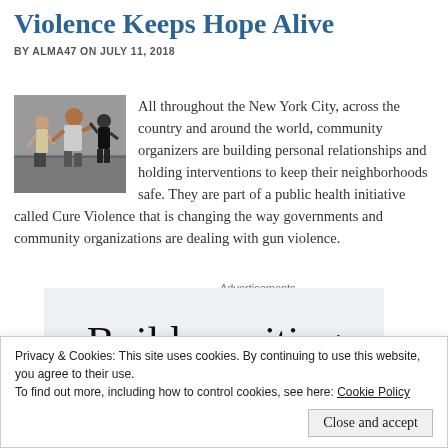Violence Keeps Hope Alive
BY ALMA47 ON JULY 11, 2018
[Figure (photo): Two men in a gym/training space, one appearing to demonstrate a self-defense or martial arts move on the other.]
All throughout the New York City, across the country and around the world, community organizers are building personal relationships and holding interventions to keep their neighborhoods safe. They are part of a public health initiative called Cure Violence that is changing the way governments and community organizations are dealing with gun violence.
Advertisements
[Figure (screenshot): Advertisement block showing partial text 'Build a writing']
Privacy & Cookies: This site uses cookies. By continuing to use this website, you agree to their use.
To find out more, including how to control cookies, see here: Cookie Policy
Close and accept